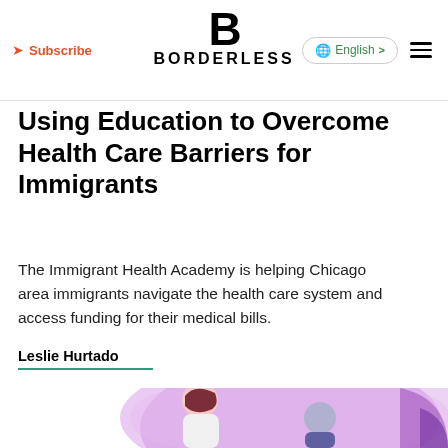Subscribe | BORDERLESS | English | menu
Using Education to Overcome Health Care Barriers for Immigrants
The Immigrant Health Academy is helping Chicago area immigrants navigate the health care system and access funding for their medical bills.
Leslie Hurtado
[Figure (illustration): Illustration of two people, one appearing to be a healthcare worker with dark red hair and the other a patient, against a purple/pink background with abstract shapes.]